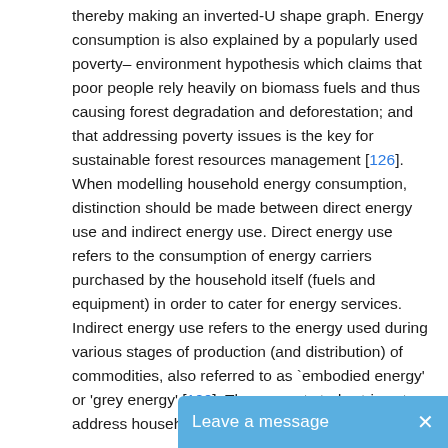thereby making an inverted-U shape graph. Energy consumption is also explained by a popularly used poverty– environment hypothesis which claims that poor people rely heavily on biomass fuels and thus causing forest degradation and deforestation; and that addressing poverty issues is the key for sustainable forest resources management [126]. When modelling household energy consumption, distinction should be made between direct energy use and indirect energy use. Direct energy use refers to the consumption of energy carriers purchased by the household itself (fuels and equipment) in order to cater for energy services. Indirect energy use refers to the energy used during various stages of production (and distribution) of commodities, also referred to as `embodied energy' or 'grey energy' [100]. The present study strives to address households' direct energy use.
Various studies have pointed out factors affecting household energy consumption income, household size, and...